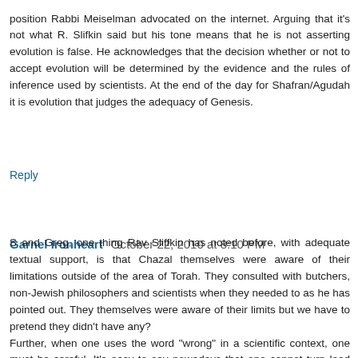position Rabbi Meiselman advocated on the internet. Arguing that it's not what R. Slifkin said but his tone means that he is not asserting evolution is false. He acknowledges that the decision whether or not to accept evolution will be determined by the evidence and the rules of inference used by scientists. At the end of the day for Shafran/Agudah it is evolution that judges the adequacy of Genesis.
Reply
Garnel Ironheart  October 22, 2010 at 8:10 PM
S and Greg, one thing Rav Sliffkin has noted before, with adequate textual support, is that Chazal themselves were aware of their limitations outside of the area of Torah. They consulted with butchers, non-Jewish philosophers and scientists when they needed to as he has pointed out. They themselves were aware of their limits but we have to pretend they didn't have any?
Further, when one uses the word "wrong" in a scientific context, one must be careful. It's easy to say nowadays that one cannot turn lead into gold. To believe one could